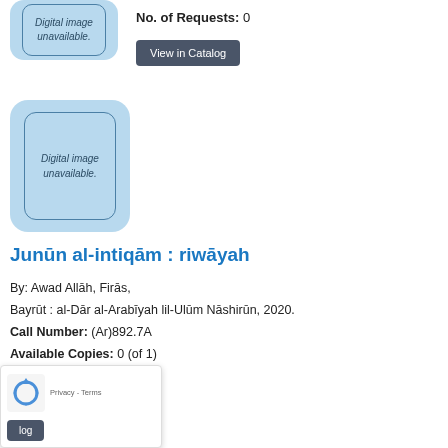[Figure (illustration): Book thumbnail placeholder showing 'Digital image unavailable.' text in a blue rounded rectangle (partial, top of page)]
No. of Requests: 0
View in Catalog
[Figure (illustration): Book thumbnail placeholder showing 'Digital image unavailable.' text in a blue rounded rectangle]
Junūn al-intiqām : riwāyah
By: Awad Allāh, Firās,
Bayrūt : al-Dār al-Arabīyah lil-Ulūm Nāshirūn, 2020.
Call Number: (Ar)892.7A
Available Copies: 0 (of 1)
No. of Requests: 0
[Figure (other): reCAPTCHA privacy overlay widget with recycle/arrow icon and Privacy - Terms label, plus partial View in Catalog button]